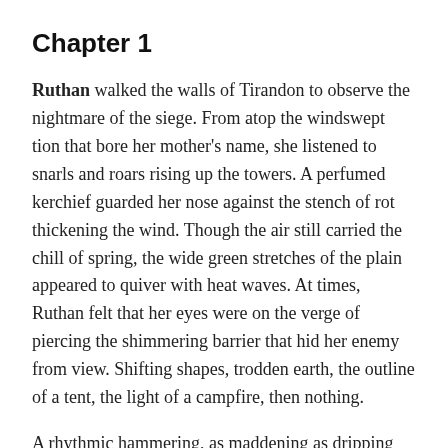Chapter 1
Ruthan walked the walls of Tirandon to observe the nightmare of the siege. From atop the windswept tion that bore her mother's name, she listened to snarls and roars rising up the towers. A perfumed kerchief guarded her nose against the stench of rot thickening the wind. Though the air still carried the chill of spring, the wide green stretches of the plain appeared to quiver with heat waves. At times, Ruthan felt that her eyes were on the verge of piercing the shimmering barrier that hid her enemy from view. Shifting shapes, trodden earth, the outline of a tent, the light of a campfire, then nothing.
A rhythmic hammering, as maddening as dripping water, pounded against the raised drawbridge. At